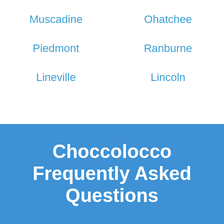Muscadine
Ohatchee
Piedmont
Ranburne
Lineville
Lincoln
Choccolocco Frequently Asked Questions